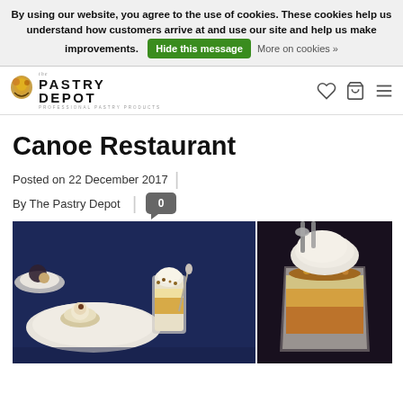By using our website, you agree to the use of cookies. These cookies help us understand how customers arrive at and use our site and help us make improvements. Hide this message  More on cookies »
[Figure (logo): The Pastry Depot logo with decorative icon and text PASTRY DEPOT PROFESSIONAL PASTRY PRODUCTS]
Canoe Restaurant
Posted on 22 December 2017
By The Pastry Depot | 0
[Figure (photo): Two photos of dessert dishes at Canoe Restaurant. Left photo shows plated desserts with white circular plates containing small dessert items and glasses with layered dessert and ice cream. Right photo shows a glass cup with layered dessert topped with a large scoop of ice cream and nuts.]